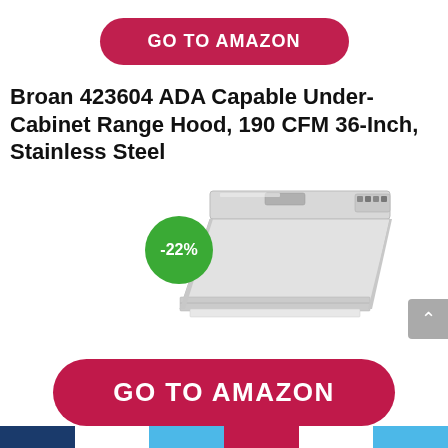[Figure (other): Red rounded button with text GO TO AMAZON in white bold uppercase letters]
Broan 423604 ADA Capable Under-Cabinet Range Hood, 190 CFM 36-Inch, Stainless Steel
[Figure (photo): Stainless steel under-cabinet range hood with green discount badge showing -22%]
[Figure (other): Red rounded large button with text GO TO AMAZON in white bold uppercase letters]
[Figure (other): Five orange star rating icons]